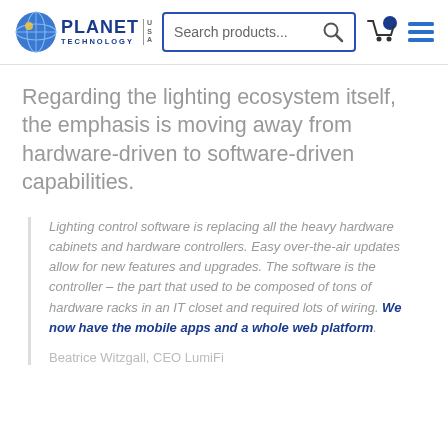Planet Technology USA — Search products...
Regarding the lighting ecosystem itself, the emphasis is moving away from hardware-driven to software-driven capabilities.
Lighting control software is replacing all the heavy hardware cabinets and hardware controllers. Easy over-the-air updates allow for new features and upgrades. The software is the controller – the part that used to be composed of tons of hardware racks in an IT closet and required lots of wiring. We now have the mobile apps and a whole web platform.
Beatrice Witzgall, CEO LumiFi